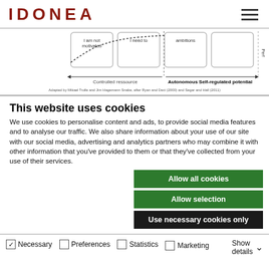IDONEA
[Figure (infographic): Partial diagram showing motivational framework with dotted curve, boxes labeled 'I am not motivated', 'I need to', 'ambitions', arrows indicating 'Controlled ressource' and 'Autonomous Self-regulated potential', with 'Perf' on right axis. Caption: 'Adapted by Mikael Trolle and Jim Hagemann Snabe, after Ryan and Deci (2000) and Segar and Hall (2011)']
This website uses cookies
We use cookies to personalise content and ads, to provide social media features and to analyse our traffic. We also share information about your use of our site with our social media, advertising and analytics partners who may combine it with other information that you've provided to them or that they've collected from your use of their services.
Allow all cookies
Allow selection
Use necessary cookies only
Necessary   Preferences   Statistics   Marketing   Show details